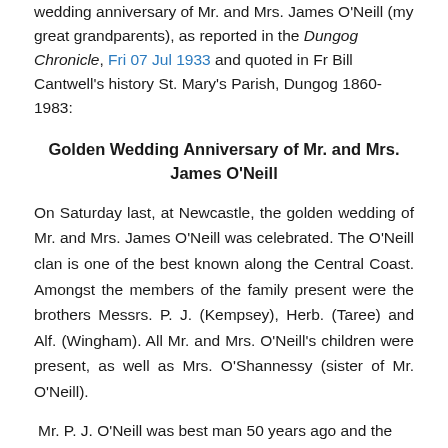Wedding anniversary of Mr. and Mrs. James O'Neill (my great grandparents), as reported in the Dungog Chronicle, Fri 07 Jul 1933 and quoted in Fr Bill Cantwell's history St. Mary's Parish, Dungog 1860-1983:
Golden Wedding Anniversary of Mr. and Mrs. James O'Neill
On Saturday last, at Newcastle, the golden wedding of Mr. and Mrs. James O'Neill was celebrated. The O'Neill clan is one of the best known along the Central Coast. Amongst the members of the family present were the brothers Messrs. P. J. (Kempsey), Herb. (Taree) and Alf. (Wingham). All Mr. and Mrs. O'Neill's children were present, as well as Mrs. O'Shannessy (sister of Mr. O'Neill).
Mr. P. J. O'Neill was best man 50 years ago and the